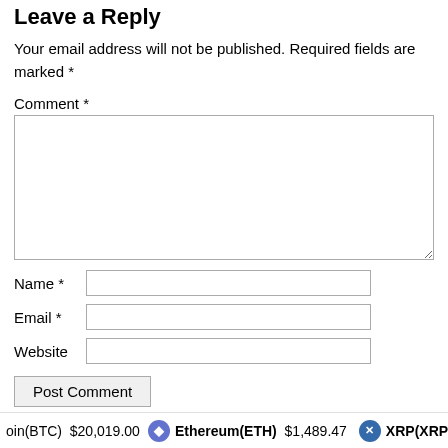Leave a Reply
Your email address will not be published. Required fields are marked *
Comment *
[Figure (other): Comment textarea input box]
Name *
Email *
Website
Post Comment
Real Time Price
oin(BTC) $20,019.00  Ethereum(ETH) $1,489.47  XRP(XRP)